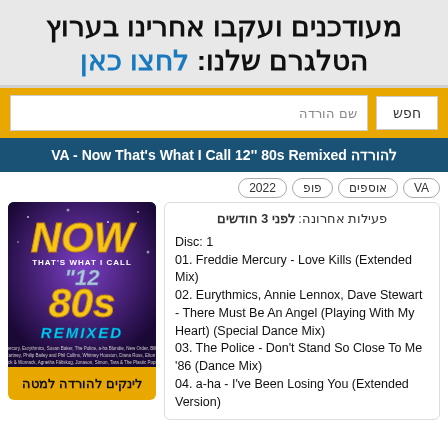מעודכנים ועקבו אחרינו בערוץ הטלגרם שלנו: לחצו כאן
שם הורדה | חפש
VA - Now That's What I Call 12'' 80s Remixed להורדה
VA | אוספים | פופ | 2022
[Figure (illustration): NOW That's What I Call 12" 80S Remixed album cover with purple/blue background and gold/yellow NOW text]
פעילות אחרונה: לפני 3 חודשים
Disc: 1
01. Freddie Mercury - Love Kills (Extended Mix)
02. Eurythmics, Annie Lennox, Dave Stewart - There Must Be An Angel (Playing With My Heart) (Special Dance Mix)
03. The Police - Don't Stand So Close To Me '86 (Dance Mix)
04. a-ha - I've Been Losing You (Extended Version)
לינקים להורדה למטה